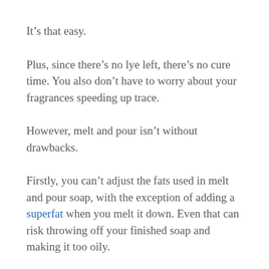It’s that easy.
Plus, since there’s no lye left, there’s no cure time. You also don’t have to worry about your fragrances speeding up trace.
However, melt and pour isn’t without drawbacks.
Firstly, you can’t adjust the fats used in melt and pour soap, with the exception of adding a superfat when you melt it down. Even that can risk throwing off your finished soap and making it too oily.
Plus, you can’t change the alkalis used in your soap, either. If it was made using a lot of NaOH